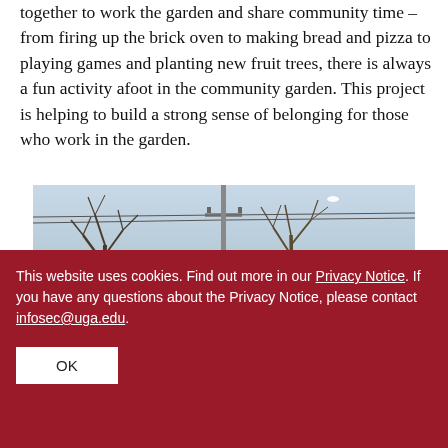together to work the garden and share community time – from firing up the brick oven to making bread and pizza to playing games and planting new fruit trees, there is always a fun activity afoot in the community garden. This project is helping to build a strong sense of belonging for those who work in the garden.
[Figure (photo): Outdoor photo showing bare tree branches against a light blue sky, with green foliage visible in the background.]
This website uses cookies. Find out more in our Privacy Notice. If you have any questions about the Privacy Notice, please contact infosec@uga.edu.